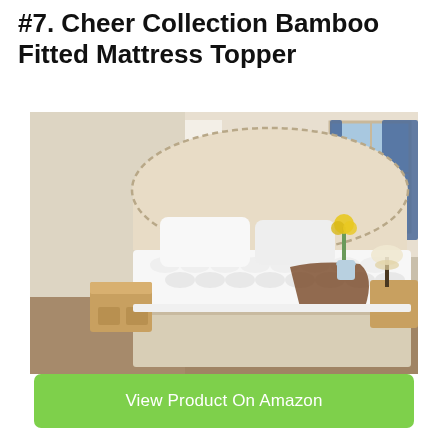#7. Cheer Collection Bamboo Fitted Mattress Topper
[Figure (photo): A neatly made bed with a thick white quilted mattress topper, white pillows, a beige upholstered headboard, a brown throw blanket, wooden nightstands, a table lamp, yellow flowers in a vase, and a window with blue curtains in a bright bedroom.]
View Product On Amazon